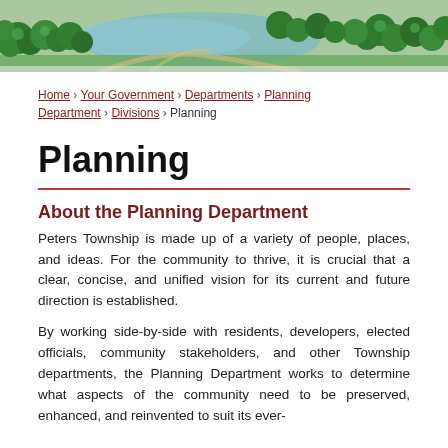[Figure (illustration): Aerial illustrated view of a green park/township landscape with trees and pathways at the top of the page]
Home › Your Government › Departments › Planning Department › Divisions › Planning
Planning
About the Planning Department
Peters Township is made up of a variety of people, places, and ideas. For the community to thrive, it is crucial that a clear, concise, and unified vision for its current and future direction is established.
By working side-by-side with residents, developers, elected officials, community stakeholders, and other Township departments, the Planning Department works to determine what aspects of the community need to be preserved, enhanced, and reinvented to suit its ever-